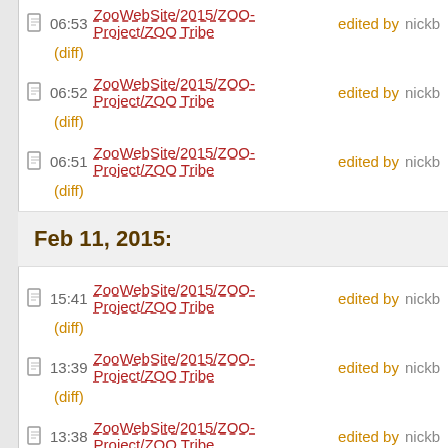06:53 ZooWebSite/2015/ZOO-Project/ZOO Tribe edited by nickb
(diff)
06:52 ZooWebSite/2015/ZOO-Project/ZOO Tribe edited by nickb
(diff)
06:51 ZooWebSite/2015/ZOO-Project/ZOO Tribe edited by nickb
(diff)
Feb 11, 2015:
15:41 ZooWebSite/2015/ZOO-Project/ZOO Tribe edited by nickb
(diff)
13:39 ZooWebSite/2015/ZOO-Project/ZOO Tribe edited by nickb
(diff)
13:38 ZooWebSite/2015/ZOO-Project/ZOO Tribe edited by nickb
(diff)
13:34 ZooWebSite/2015/ZOO-Project/ZOO Tribe edited by nickb
(diff)